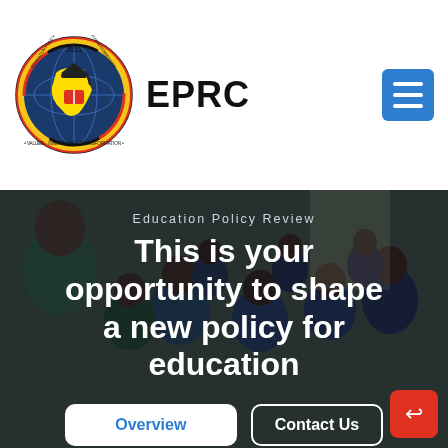EPRC
Education Policy Review
This is your opportunity to shape a new policy for education
Overview
Contact Us